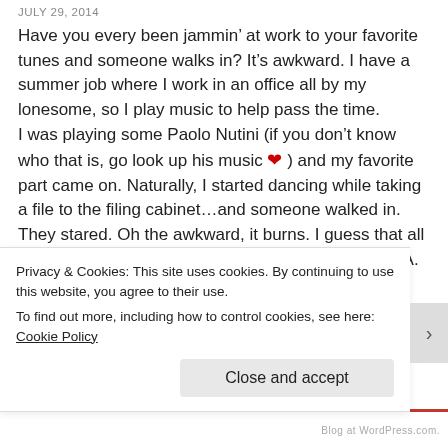JULY 29, 2014
Have you every been jammin’ at work to your favorite tunes and someone walks in? It’s awkward. I have a summer job where I work in an office all by my lonesome, so I play music to help pass the time.
I was playing some Paolo Nutini (if you don’t know who that is, go look up his music ❤) and my favorite part came on. Naturally, I started dancing while taking a file to the filing cabinet…and someone walked in. They stared. Oh the awkward, it burns. I guess that all comes with the territory of being a great dancer…HA. When I was contemplating the jam session, I got to thinking. (Never a good thing) Somehow, my brain made a leap from jammin’ out to ‘New Shoes’ to actual jam. Yes, my brain works in strange and mysterious ways. It baffles even me
Privacy & Cookies: This site uses cookies. By continuing to use this website, you agree to their use.
To find out more, including how to control cookies, see here: Cookie Policy
Close and accept